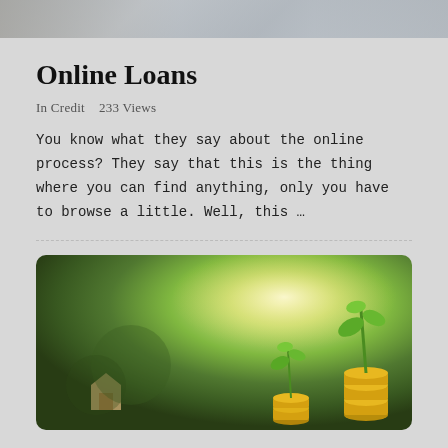[Figure (photo): Top portion of a photo showing documents/papers and a plant or person, partially cropped at the top of the page]
Online Loans
In Credit   233 Views
You know what they say about the online process? They say that this is the thing where you can find anything, only you have to browse a little. Well, this …
[Figure (photo): Photo of coins stacked with green plant seedlings growing on top of them, set against a blurred green bokeh background with sunlight]